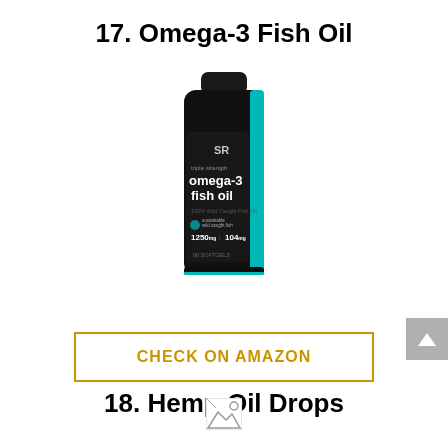17. Omega-3 Fish Oil
[Figure (photo): A dark bottle of Sports Research triple strength omega-3 fish oil supplement, 90 softgels, with teal accent stripe on the side.]
CHECK ON AMAZON
18. Hemp Oil Drops
[Figure (photo): Broken/missing image placeholder icon for the Hemp Oil Drops product image.]